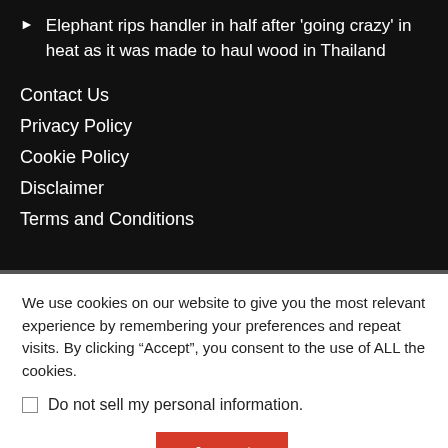Elephant rips handler in half after 'going crazy' in heat as it was made to haul wood in Thailand
Contact Us
Privacy Policy
Cookie Policy
Disclaimer
Terms and Conditions
We use cookies on our website to give you the most relevant experience by remembering your preferences and repeat visits. By clicking "Accept", you consent to the use of ALL the cookies.
Do not sell my personal information.
Cookie Settings
Accept